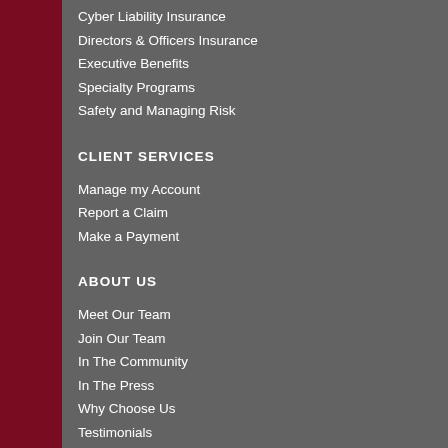Cyber Liability Insurance
Directors & Officers Insurance
Executive Benefits
Specialty Programs
Safety and Managing Risk
CLIENT SERVICES
Manage my Account
Report a Claim
Make a Payment
ABOUT US
Meet Our Team
Join Our Team
In The Community
In The Press
Why Choose Us
Testimonials
Pledge of Performance
Policies/Disclaimers
Compensation/Disclosure
Sitemap